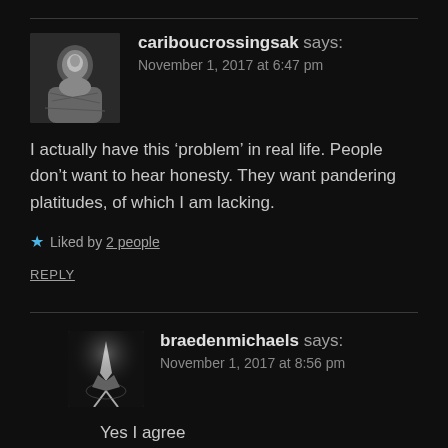cariboucrossingsak says: November 1, 2017 at 6:47 pm
I actually have this ‘problem’ in real life. People don’t want to hear honesty. They want pandering platitudes, of which I am lacking.
★ Liked by 2 people
REPLY
braedenmichaels says: November 1, 2017 at 8:56 pm
Yes I agree